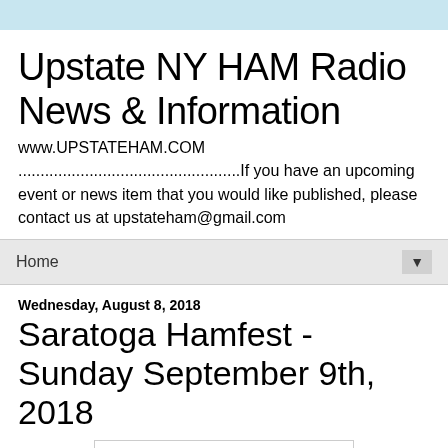Upstate NY HAM Radio News & Information
www.UPSTATEHAM.COM
..................................................If you have an upcoming event or news item that you would like published, please contact us at upstateham@gmail.com
Home
Wednesday, August 8, 2018
Saratoga Hamfest - Sunday September 9th, 2018
[Figure (illustration): Flyer for Saratoga County Amateur Radio Association presenting their 33rd annual HAMFEST 2018]